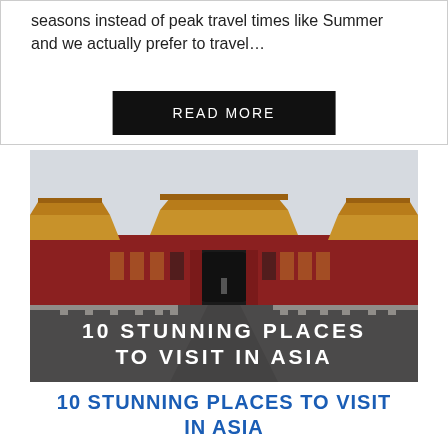seasons instead of peak travel times like Summer and we actually prefer to travel…
READ MORE
[Figure (photo): Photo of the Forbidden City in Beijing, China, showing the grand red gate building with golden roof tiles, white marble balustrades, and a grey overcast sky. Overlaid text reads '10 STUNNING PLACES TO VISIT IN ASIA' in white bold uppercase letters.]
10 STUNNING PLACES TO VISIT IN ASIA